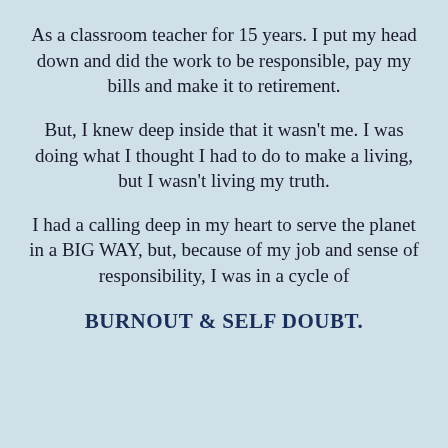As a classroom teacher for 15 years. I put my head down and did the work to be responsible, pay my bills and make it to retirement.
But, I knew deep inside that it wasn't me. I was doing what I thought I had to do to make a living, but I wasn't living my truth.
I had a calling deep in my heart to serve the planet in a BIG WAY, but, because of my job and sense of responsibility, I was in a cycle of
BURNOUT & SELF DOUBT.